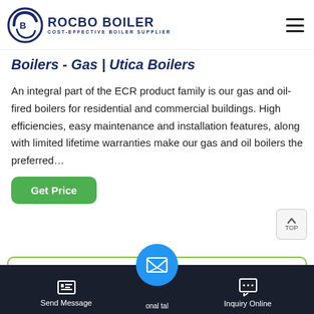[Figure (logo): Rocbo Boiler logo — circular icon with letter C and boiler motif, with text ROCBO BOILER and subtitle COST-EFFECTIVE BOILER SUPPLIER]
Boilers - Gas | Utica Boilers
An integral part of the ECR product family is our gas and oil-fired boilers for residential and commercial buildings. High efficiencies, easy maintenance and installation features, along with limited lifetime warranties make our gas and oil boilers the preferred…
[Figure (other): Green Get Price button]
Hot News
[Figure (other): Bottom navigation bar with Send Message icon (left), circular blue email/message icon (center), and Inquiry Online icon (right) on dark background. Center circle partially overlaps boundary. Text partially visible: '...onal tal...']